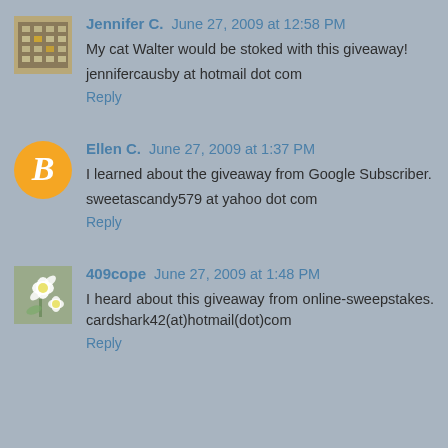[Figure (photo): Small square avatar showing a building with many windows]
Jennifer C. June 27, 2009 at 12:58 PM
My cat Walter would be stoked with this giveaway!

jennifercausby at hotmail dot com

Reply
[Figure (logo): Orange circle Blogger logo with B]
Ellen C. June 27, 2009 at 1:37 PM
I learned about the giveaway from Google Subscriber.

sweetascandy579 at yahoo dot com

Reply
[Figure (photo): Small square avatar showing white flowers]
409cope June 27, 2009 at 1:48 PM
I heard about this giveaway from online-sweepstakes. cardshark42(at)hotmail(dot)com

Reply